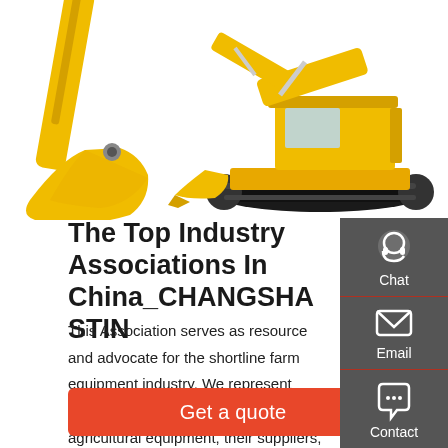[Figure (illustration): Yellow excavator construction machinery shown from two angles — foreground shows the arm/bucket detail, background shows the full excavator on tracks]
The Top Industry Associations In China_CHANGSHA STIN
This Association serves as resource and advocate for the shortline farm equipment industry. We represent manufacturers of specialized agricultural equipment, their suppliers, and their distributors. We understand the distinct needs of this niche group and work hard to support them so they can do what they do best: bring choice, value and
[Figure (other): Right sidebar with dark grey background containing three items: Chat (headset icon), Email (envelope icon), Contact (speech bubble icon), separated by red horizontal rules]